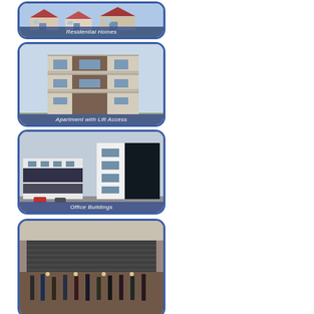[Figure (photo): Residential Homes - photo of house exterior with label overlay]
[Figure (photo): Apartment with Lift Access - photo of modern apartment building with label overlay]
[Figure (photo): Office Buildings - photo of commercial office building with label overlay]
[Figure (photo): Retail/commercial storefront building with clothing/merchandise visible, partial card at bottom]